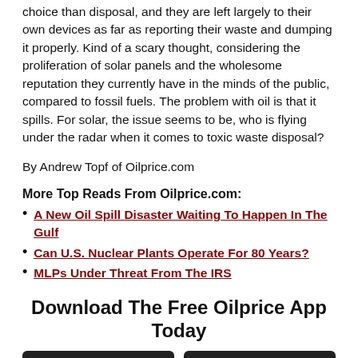choice than disposal, and they are left largely to their own devices as far as reporting their waste and dumping it properly. Kind of a scary thought, considering the proliferation of solar panels and the wholesome reputation they currently have in the minds of the public, compared to fossil fuels. The problem with oil is that it spills. For solar, the issue seems to be, who is flying under the radar when it comes to toxic waste disposal?
By Andrew Topf of Oilprice.com
More Top Reads From Oilprice.com:
A New Oil Spill Disaster Waiting To Happen In The Gulf
Can U.S. Nuclear Plants Operate For 80 Years?
MLPs Under Threat From The IRS
Download The Free Oilprice App Today